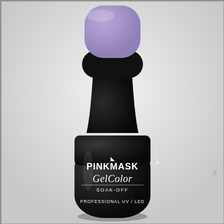[Figure (photo): A black matte gel nail polish bottle by PinkMask with a lavender/light purple cap. The bottle label reads: PINKMASK (with a small leaf logo above), GelColor, SOAK-OFF, PROFESSIONAL UV/LED. Background is light grey/white.]